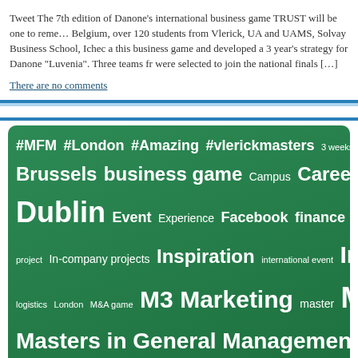Tweet The 7th edition of Danone's international business game TRUST will be one to remember. Belgium, over 120 students from Vlerick, UA and UAMS, Solvay Business School, Ichec a this business game and developed a 3 year's strategy for Danone "Luvenia". Three teams fr were selected to join the national finals […]
There are no comments
[Figure (infographic): Tag cloud on a dark green rounded rectangle background showing various tags related to Vlerick Business School masters programs and events. Tags include: #MFM, #London, #Amazing, #vlerickmasters, 3 weeks, 2016, Academic year 2013, Brussels, business game, Campus, Career Event, Career Skills, CFA, cha, Dublin, Event, Experience, Facebook, finance, fun, fundraising, GMAC, project, In-company projects, Inspiration, international event, International, logistics, London, M&A game, M3, Marketing, master, Masters, Masters in General Management, Masters in, Aramis, Microsoft, My VDP, Networking, opening seminar, Oracle, pa, Steinhoff, stories, Team, TRUST, Vlerick, Vlerick Board member]